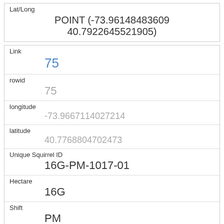| Field | Value |
| --- | --- |
| Lat/Long | POINT (-73.96148483609 40.7922645521905) |
| Link | 75 |
| rowid | 75 |
| longitude | -73.9667114027214 |
| latitude | 40.7768804702473 |
| Unique Squirrel ID | 16G-PM-1017-01 |
| Hectare | 16G |
| Shift | PM |
| Date | 10172018 |
| Hectare Squirrel Number | 1 |